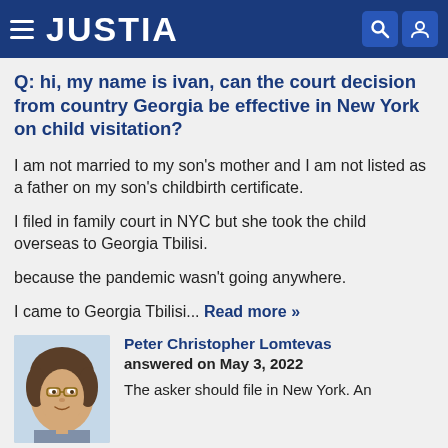JUSTIA
Q: hi, my name is ivan, can the court decision from country Georgia be effective in New York on child visitation?
I am not married to my son's mother and I am not listed as a father on my son's childbirth certificate.
I filed in family court in NYC but she took the child overseas to Georgia Tbilisi.
because the pandemic wasn't going anywhere.
I came to Georgia Tbilisi... Read more »
Peter Christopher Lomtevas answered on May 3, 2022
The asker should file in New York. An